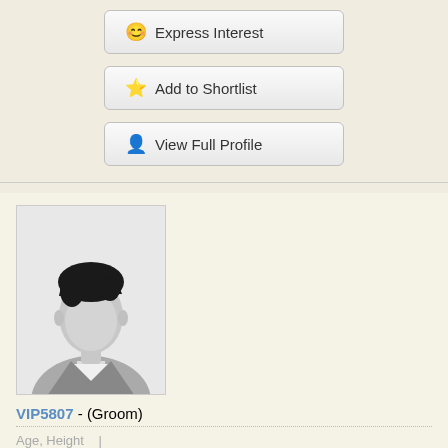😊 Express Interest
⭐ Add to Shortlist
👤 View Full Profile
[Figure (photo): Generic male silhouette placeholder profile photo, grayscale, man with dark hair and white collar shirt]
VIP5807 - (Groom)
Age, Height
54 Years, 5ft 10in, 177